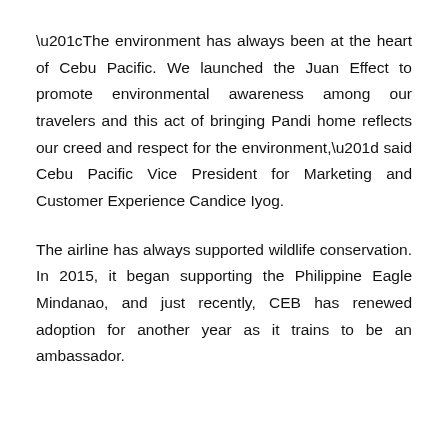“The environment has always been at the heart of Cebu Pacific. We launched the Juan Effect to promote environmental awareness among our travelers and this act of bringing Pandi home reflects our creed and respect for the environment,” said Cebu Pacific Vice President for Marketing and Customer Experience Candice Iyog.
The airline has always supported wildlife conservation. In 2015, it began supporting the Philippine Eagle Mindanao, and just recently, CEB has renewed adoption for another year as it trains to be an ambassador.